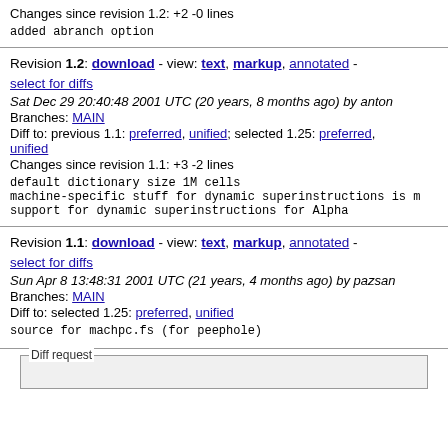Changes since revision 1.2: +2 -0 lines
added abranch option
Revision 1.2: download - view: text, markup, annotated - select for diffs
Sat Dec 29 20:40:48 2001 UTC (20 years, 8 months ago) by anton
Branches: MAIN
Diff to: previous 1.1: preferred, unified; selected 1.25: preferred, unified
Changes since revision 1.1: +3 -2 lines
default dictionary size 1M cells
machine-specific stuff for dynamic superinstructions is m
support for dynamic superinstructions for Alpha
Revision 1.1: download - view: text, markup, annotated - select for diffs
Sun Apr 8 13:48:31 2001 UTC (21 years, 4 months ago) by pazsan
Branches: MAIN
Diff to: selected 1.25: preferred, unified
source for machpc.fs (for peephole)
Diff request